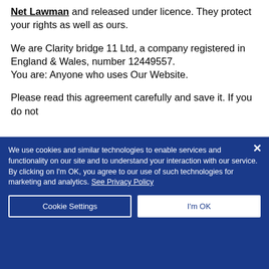Net Lawman and released under licence. They protect your rights as well as ours.
We are Clarity bridge 11 Ltd, a company registered in England & Wales, number 12449557.
You are: Anyone who uses Our Website.
Please read this agreement carefully and save it. If you do not
We use cookies and similar technologies to enable services and functionality on our site and to understand your interaction with our service. By clicking on I'm OK, you agree to our use of such technologies for marketing and analytics. See Privacy Policy
Cookie Settings | I'm OK